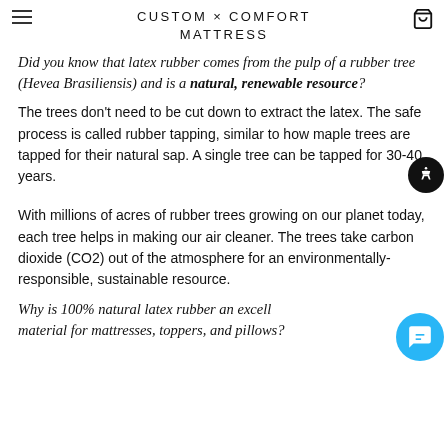CUSTOM × COMFORT MATTRESS
Did you know that latex rubber comes from the pulp of a rubber tree (Hevea Brasiliensis) and is a natural, renewable resource?
The trees don't need to be cut down to extract the latex. The safe process is called rubber tapping, similar to how maple trees are tapped for their natural sap. A single tree can be tapped for 30-40 years.
With millions of acres of rubber trees growing on our planet today, each tree helps in making our air cleaner. The trees take carbon dioxide (CO2) out of the atmosphere for an environmentally-responsible, sustainable resource.
Why is 100% natural latex rubber an excellent material for mattresses, toppers, and pillows?